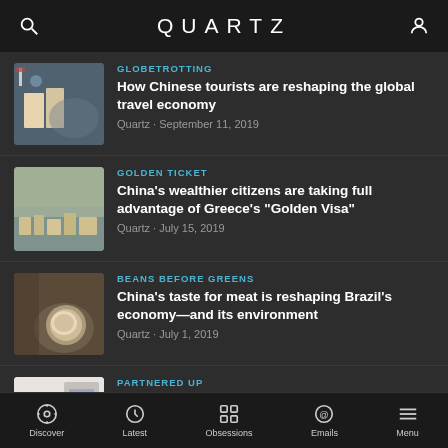QUARTZ
GLOBETROTTING
How Chinese tourists are reshaping the global travel economy
Quartz · September 11, 2019
[Figure (photo): People on a rooftop or overlook with a flag]
GOLDEN TICKET
China's wealthier citizens are taking full advantage of Greece's "Golden Visa"
Quartz · July 15, 2019
[Figure (photo): Aerial view of a city]
BEANS BEFORE GREENS
China's taste for meat is reshaping Brazil's economy—and its environment
Quartz · July 1, 2019
[Figure (photo): Hand holding grain/beans]
PARTNERED UP
How Shenzhen is fueling Ethiopia's burgeoning startup scene
Quartz · June 17, 2019
[Figure (photo): Person at a desk with a phone]
Discover · Latest · Obsessions · Emails · Menu